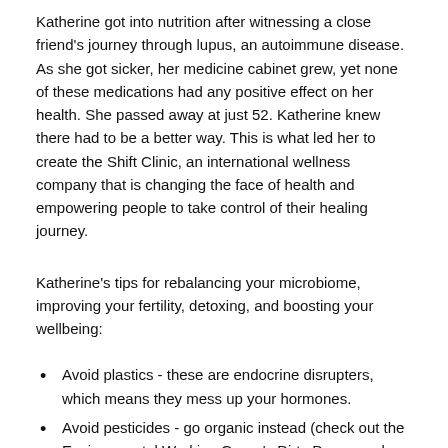Katherine got into nutrition after witnessing a close friend's journey through lupus, an autoimmune disease. As she got sicker, her medicine cabinet grew, yet none of these medications had any positive effect on her health. She passed away at just 52. Katherine knew there had to be a better way. This is what led her to create the Shift Clinic, an international wellness company that is changing the face of health and empowering people to take control of their healing journey.
Katherine's tips for rebalancing your microbiome, improving your fertility, detoxing, and boosting your wellbeing:
Avoid plastics - these are endocrine disrupters, which means they mess up your hormones.
Avoid pesticides - go organic instead (check out the Environmental Working Group's Dirty Dozen and clean Fifteen lists).
Avoid gluten and dairy.
Drink purified, filtered water - around 8 cups a day.
Fill up on fiber (gluten free whole grains, legumes, nuts, seeds, fruits and vegetables) - it binds to toxins and takes them out of the body.
Balance is everything - if you fancy a glass of wine, go for it (just make sure it's organic and vegan).
Focus on the emotional connection.
Check out Katherine's book, Get Well Stay Well to discover more...